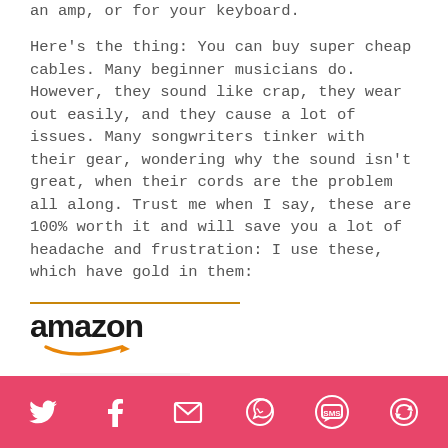an amp, or for your keyboard.
Here's the thing: You can buy super cheap cables. Many beginner musicians do. However, they sound like crap, they wear out easily, and they cause a lot of issues. Many songwriters tinker with their gear, wondering why the sound isn't great, when their cords are the problem all along. Trust me when I say, these are 100% worth it and will save you a lot of headache and frustration: I use these, which have gold in them:
[Figure (logo): Amazon logo with orange underline and smile arrow beneath the text]
[Figure (photo): Partially visible product image (appears to be a cable/connector) cropped at bottom]
Social sharing icons: Twitter, Facebook, Email, WhatsApp, SMS, Share